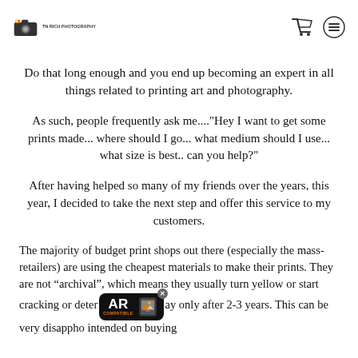TN RICH PHOTOGRAPHY logo with camera icon, shopping cart and menu icons
Do that long enough and you end up becoming an expert in all things related to printing art and photography.
As such, people frequently ask me...."Hey I want to get some prints made... where should I go... what medium should I use... what size is best.. can you help?"
After having helped so many of my friends over the years, this year, I decided to take the next step and offer this service to my customers.
The majority of budget print shops out there (especially the mass-retailers) are using the cheapest materials to make their prints. They are not “archival”, which means they usually turn yellow or start cracking or deter[AR COMPATIBLE badge]ay only after 2-3 years. This can be very disapp[...]ho intended on buying